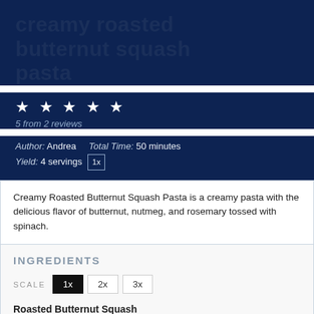creamy roasted butternut squash pasta
★ ★ ★ ★ ★
5 from 2 reviews
Author: Andrea   Total Time: 50 minutes
Yield: 4 servings  1x
Creamy Roasted Butternut Squash Pasta is a creamy pasta with the delicious flavor of butternut, nutmeg, and rosemary tossed with spinach.
INGREDIENTS
SCALE  1x  2x  3x
Roasted Butternut Squash
1 butternut squash chopped into 1/2 inch by 1/2 inch squares, about 3-4 cups
1 tablespoon olive oil
1 teaspoon rosemary